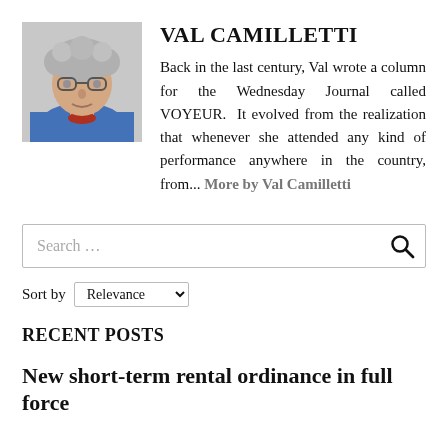[Figure (photo): Headshot photo of Val Camilletti, an older woman with curly gray hair and glasses, wearing a blue jacket]
VAL CAMILLETTI
Back in the last century, Val wrote a column for the Wednesday Journal called VOYEUR.  It evolved from the realization that whenever she attended any kind of performance anywhere in the country, from... More by Val Camilletti
Search …
Sort by Relevance
RECENT POSTS
New short-term rental ordinance in full force